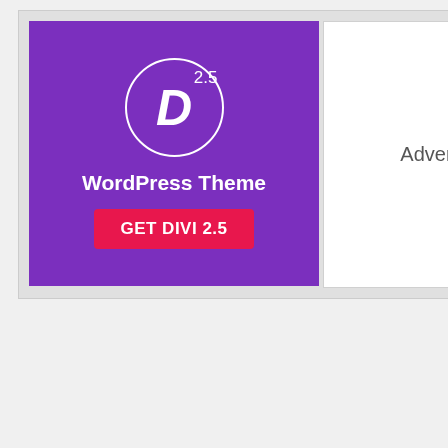[Figure (logo): Divi WordPress Theme promotional banner with purple background, D logo in circle with superscript 2.5, text 'WordPress Theme', and red button 'GET DIVI 2.5']
Advertise Here